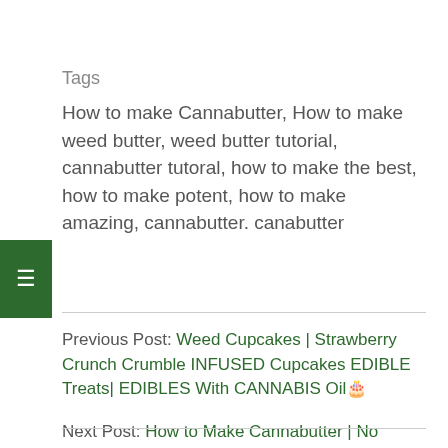Tags
How to make Cannabutter, How to make weed butter, weed butter tutorial, cannabutter tutoral, how to make the best, how to make potent, how to make amazing, cannabutter. canabutter
Previous Post: Weed Cupcakes | Strawberry Crunch Crumble INFUSED Cupcakes EDIBLE Treats| EDIBLES With CANNABIS Oil🎂
Next Post: How to Make Cannabutter | No Water Technique for Edibles and Topicals